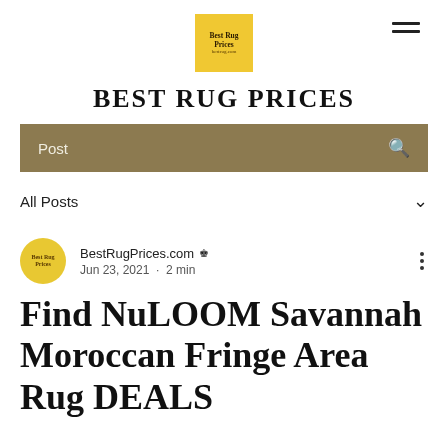BEST RUG PRICES
[Figure (logo): Best Rug Prices yellow square logo with text]
Post
All Posts
BestRugPrices.com Jun 23, 2021 · 2 min
Find NuLOOM Savannah Moroccan Fringe Area Rug DEALS